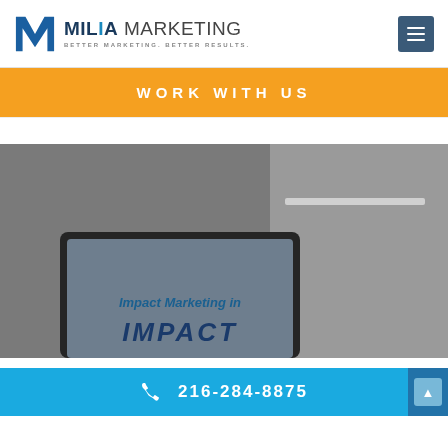[Figure (logo): Milia Marketing logo with stylized M icon in blue and tagline 'BETTER MARKETING. BETTER RESULTS.']
[Figure (other): Hamburger menu icon button (three horizontal lines) in dark blue-gray square]
WORK WITH US
[Figure (screenshot): Gray background image showing laptop screen with text 'Impact Marketing in' and partial large text below, with shelf visible in upper right]
216-284-8875